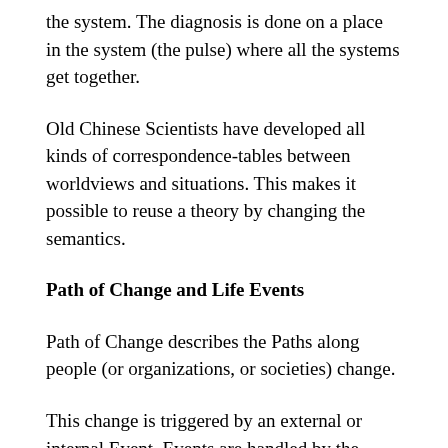the system. The diagnosis is done on a place in the system (the pulse) where all the systems get together.
Old Chinese Scientists have developed all kinds of correspondence-tables between worldviews and situations. This makes it possible to reuse a theory by changing the semantics.
Path of Change and Life Events
Path of Change describes the Paths along people (or organizations, or societies) change.
This change is triggered by an external or internal Event. Events are handled by the Sensory-Motor-